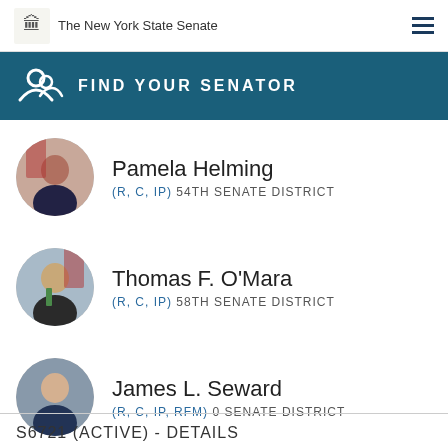The New York State Senate
FIND YOUR SENATOR
Pamela Helming (R, C, IP) 54TH SENATE DISTRICT
Thomas F. O'Mara (R, C, IP) 58TH SENATE DISTRICT
James L. Seward (R, C, IP, RFM) 0 SENATE DISTRICT
S6721 (ACTIVE) - DETAILS